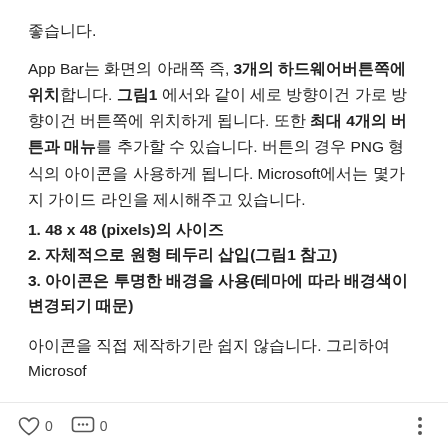좋습니다.
App Bar는 화면의 아래쪽 즉, 3개의 하드웨어버튼쪽에 위치합니다. 그림1 에서와 같이 세로 방향이건 가로 방향이건 버튼쪽에 위치하게 됩니다. 또한 최대 4개의 버튼과 매뉴를 추가할 수 있습니다. 버튼의 경우 PNG 형식의 아이콘을 사용하게 됩니다. Microsoft에서는 몇가지 가이드 라인을 제시해주고 있습니다.
1. 48 x 48 (pixels)의 사이즈
2. 자체적으로 원형 테두리 삽입(그림1 참고)
3. 아이콘은 투명한 배경을 사용(테마에 따라 배경색이 변경되기 때문)
아이콘을 직접 제작하기란 쉽지 않습니다. 그리하여 Microsof
♡ 0   💬 0